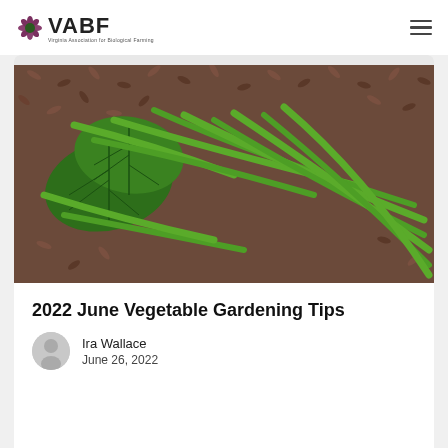VABF Virginia Association for Biological Farming
[Figure (photo): Close-up photo of fresh green beans and broad leaves arranged on a bed of brown/purple grain seeds]
2022 June Vegetable Gardening Tips
Ira Wallace
June 26, 2022